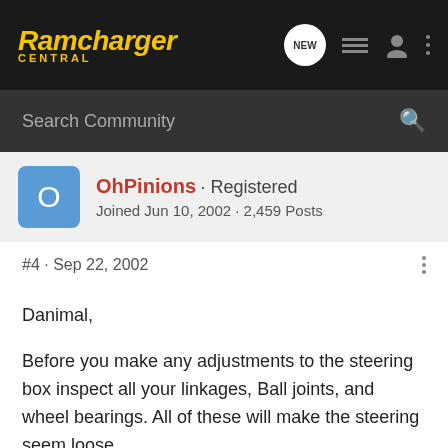Ramcharger Central
Search Community
OhPinions · Registered
Joined Jun 10, 2002 · 2,459 Posts
#4 · Sep 22, 2002
Danimal,

Before you make any adjustments to the steering box inspect all your linkages, Ball joints, and wheel bearings. All of these will make the steering seem loose.

Richard